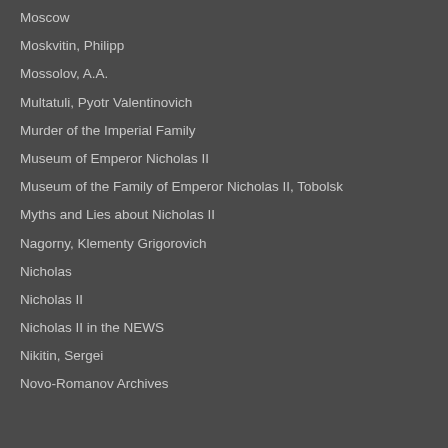Moscow
Moskvitin, Philipp
Mossolov, A.A.
Multatuli, Pyotr Valentinovich
Murder of the Imperial Family
Museum of Emperor Nicholas II
Museum of the Family of Emperor Nicholas II, Tobolsk
Myths and Lies about Nicholas II
Nagorny, Klementy Grigorovich
Nicholas
Nicholas II
Nicholas II in the NEWS
Nikitin, Sergei
Novo-Romanov Archives